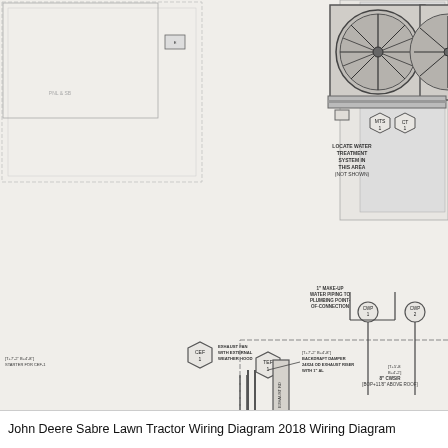[Figure (engineering-diagram): HVAC mechanical engineering plan drawing showing rooftop equipment layout including two large circular cooling tower/condenser units, chillers (CH-1, CH-2), exhaust fans (CEF-1, TEF-1), cooling water pumps (CWP-1, CWP-2), air handler (AH-B2), piping connections, ductwork, and various annotations including 1" make-up water piping, 8" CWS/R piping, backdraft damper 24x24 OD exhaust riser with 1" AL, refrigerant relief vents, 8" concrete pad, and elevation markers.]
John Deere Sabre Lawn Tractor Wiring Diagram 2018 Wiring Diagram